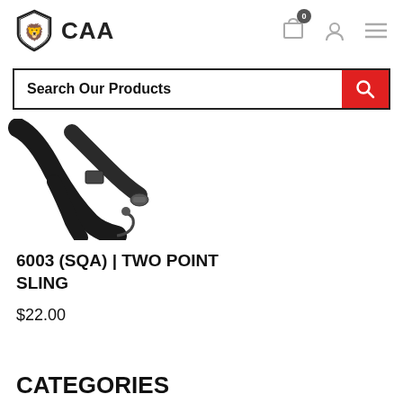CAA
Search Our Products
[Figure (photo): Black two-point tactical sling with metal clips and buckles on a white background, partially cropped.]
6003 (SQA) | TWO POINT SLING
$22.00
CATEGORIES